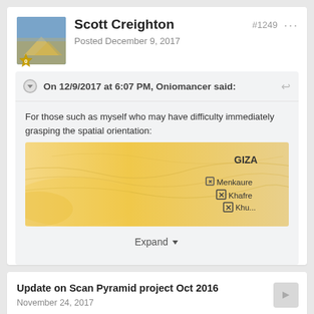Scott Creighton
Posted December 9, 2017
#1249
On 12/9/2017 at 6:07 PM, Oniomancer said:
For those such as myself who may have difficulty immediately grasping the spatial orientation:
[Figure (map): Map showing Giza plateau with markers for Menkaure, Khafre, and Khufu pyramids on a sandy/tan topographic background]
Expand
Update on Scan Pyramid project Oct 2016
November 24, 2017